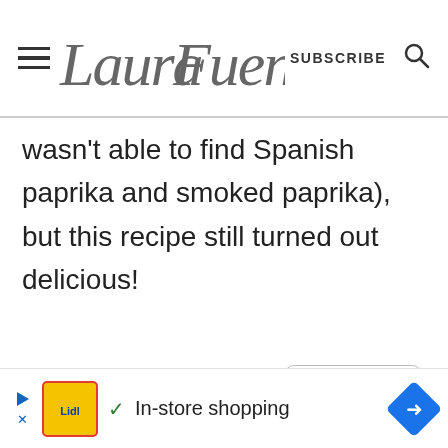Laura Fuentes — SUBSCRIBE
wasn't able to find Spanish paprika and smoked paprika), but this recipe still turned out delicious!
REPLY
Laura Fuentes
om
[Figure (screenshot): Advertisement bar: Lidl logo image, checkmark, 'In-store shopping' text, blue diamond arrow icon]